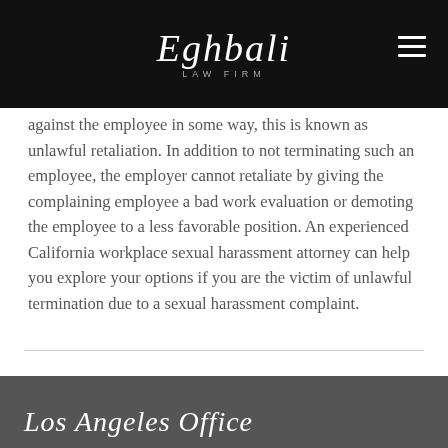[Figure (logo): Eghbali Law Firm logo in white script on black header bar]
against the employee in some way, this is known as unlawful retaliation. In addition to not terminating such an employee, the employer cannot retaliate by giving the complaining employee a bad work evaluation or demoting the employee to a less favorable position. An experienced California workplace sexual harassment attorney can help you explore your options if you are the victim of unlawful termination due to a sexual harassment complaint.
Los Angeles Office